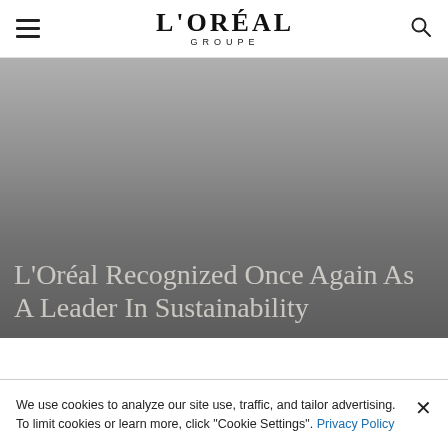L'ORÉAL GROUPE
[Figure (illustration): Dark grey gradient hero background image]
L'Oréal Recognized Once Again As A Leader In Sustainability
We use cookies to analyze our site use, traffic, and tailor advertising. To limit cookies or learn more, click "Cookie Settings". Privacy Policy